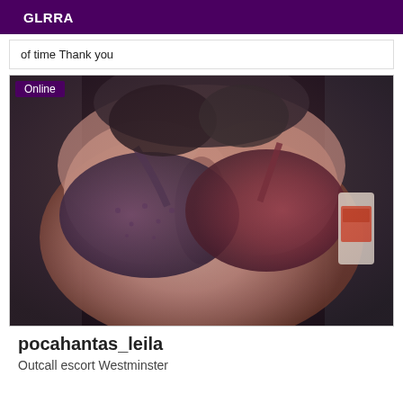GLRRA
of time Thank you
[Figure (photo): Close-up photo of a person wearing a dark purple/maroon patterned bra, with an 'Online' badge overlaid in the top-left corner.]
pocahantas_leila
Outcall escort Westminster